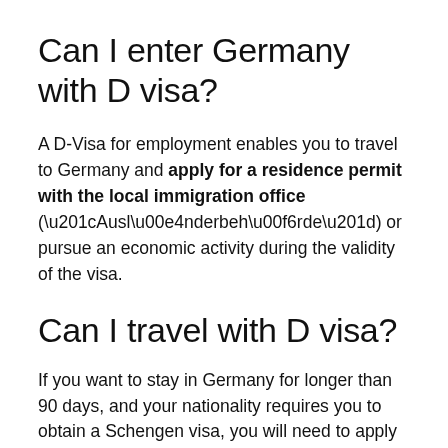Can I enter Germany with D visa?
A D-Visa for employment enables you to travel to Germany and apply for a residence permit with the local immigration office (“Ausländerbehörde”) or pursue an economic activity during the validity of the visa.
Can I travel with D visa?
If you want to stay in Germany for longer than 90 days, and your nationality requires you to obtain a Schengen visa, you will need to apply for a national visa (category D...